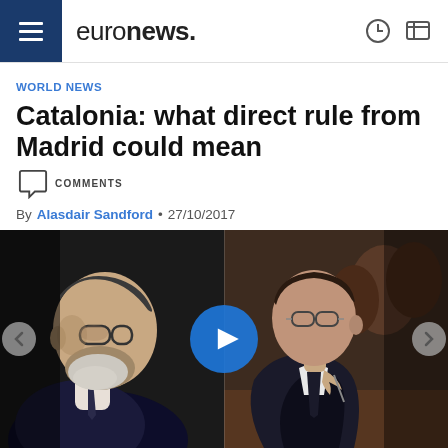euronews.
WORLD NEWS
Catalonia: what direct rule from Madrid could mean COMMENTS
By Alasdair Sandford • 27/10/2017
[Figure (photo): Split photo showing two men: on the left, Mariano Rajoy in profile view, and on the right, Carles Puigdemont in a parliament setting, with a blue play button overlay in the center]